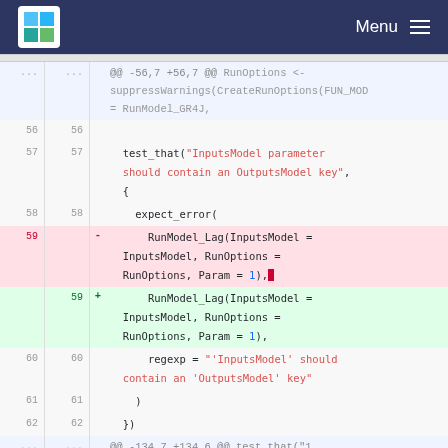Menu
[Figure (screenshot): Code diff view showing changes to a test file. Lines 56-62 shown with one removed line (59) and one added line (59). The diff shows RunModel_Lag function call changes inside a test_that block testing InputsModel parameter OutputsModel key requirement.]